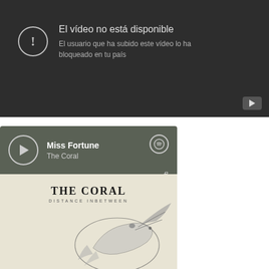[Figure (screenshot): YouTube video unavailable error screen (dark background). Shows a circle with exclamation mark icon, text 'El vídeo no está disponible', subtitle 'El usuario que ha subido este vídeo lo ha bloqueado en tu país', and YouTube logo in bottom right corner.]
[Figure (screenshot): Spotify embedded player widget showing 'Miss Fortune' by The Coral. Has play button, song title, artist name, Spotify logo, progress bar, and share icon. Below is the album art showing The Coral album cover with a bird illustration on cream background.]